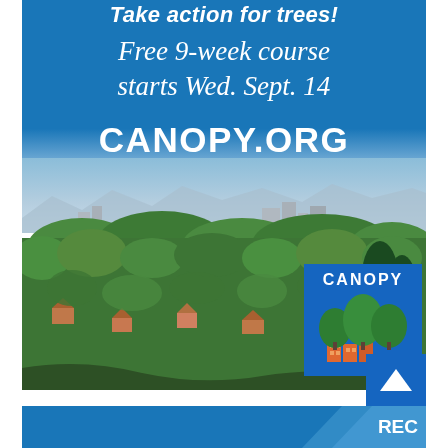Take action for trees!
Free 9-week course starts Wed. Sept. 14
CANOPY.ORG
[Figure (photo): Aerial photograph of a suburban neighborhood with dense tree canopy, houses, and a city skyline with mountains in the background. A Canopy organization logo (blue background with stylized trees and buildings) is overlaid in the bottom right corner.]
CANOPY